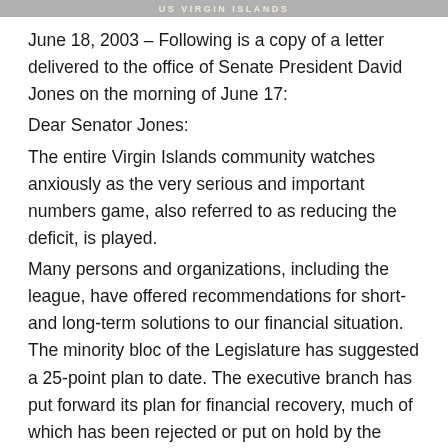US VIRGIN ISLANDS
June 18, 2003 – Following is a copy of a letter delivered to the office of Senate President David Jones on the morning of June 17:
Dear Senator Jones:
The entire Virgin Islands community watches anxiously as the very serious and important numbers game, also referred to as reducing the deficit, is played.
Many persons and organizations, including the league, have offered recommendations for short- and long-term solutions to our financial situation. The minority bloc of the Legislature has suggested a 25-point plan to date. The executive branch has put forward its plan for financial recovery, much of which has been rejected or put on hold by the Legislature's Finance Committee to date.
In the interim, as the crisis escalates, compounded by the delay in addressing it and outside factors such as the federal tax reduction act, piecemeal efforts are being made, most